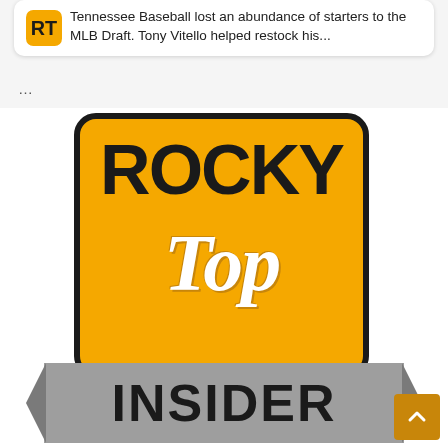Tennessee Baseball lost an abundance of starters to the MLB Draft. Tony Vitello helped restock his...
...
[Figure (logo): Rocky Top Insider logo — orange rounded square badge with black border, 'ROCKY' in bold black uppercase at top, 'Top' in large white italic script in center, gray ribbon banner at bottom with 'INSIDER' in bold black uppercase text. Gold/amber scroll-to-top button at bottom right.]